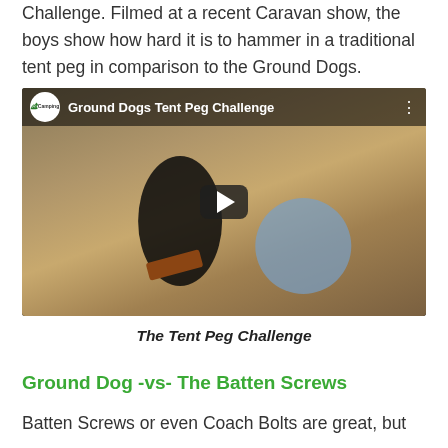Challenge. Filmed at a recent Caravan show, the boys show how hard it is to hammer in a traditional tent peg in comparison to the Ground Dogs.
[Figure (screenshot): YouTube video embed showing two men at a caravan show attempting to insert tent pegs into the ground, titled 'Ground Dogs Tent Peg Challenge']
The Tent Peg Challenge
Ground Dog -vs- The Batten Screws
Batten Screws or even Coach Bolts are great, but